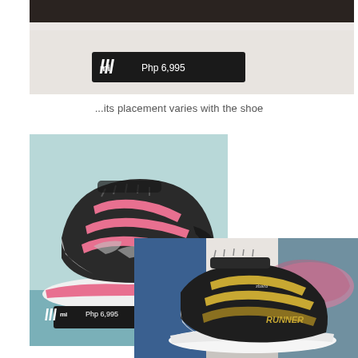[Figure (photo): Close-up photo of a price tag on a shelf showing 'mi adidas Php 6,995' on a dark background label]
...its placement varies with the shoe
[Figure (photo): Pink and black Adidas running shoe on a display shelf with a price tag reading 'mi adidas Php 6,995' below]
[Figure (photo): White and gold/khaki running shoe labeled RUNNER displayed in a store setting]